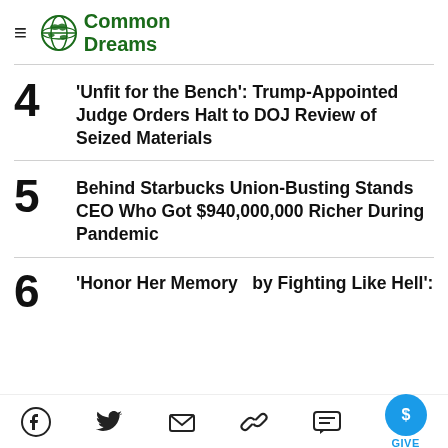Common Dreams
4 'Unfit for the Bench': Trump-Appointed Judge Orders Halt to DOJ Review of Seized Materials
5 Behind Starbucks Union-Busting Stands CEO Who Got $940,000,000 Richer During Pandemic
6 'Honor Her Memory by Fighting Like Hell':